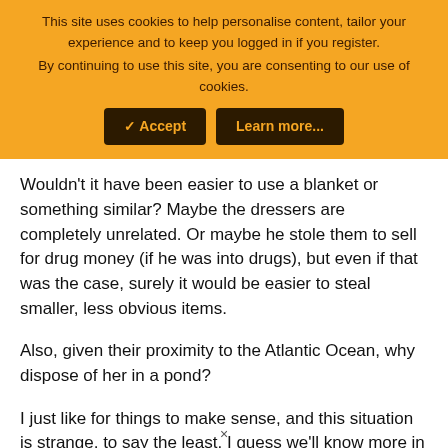This site uses cookies to help personalise content, tailor your experience and to keep you logged in if you register. By continuing to use this site, you are consenting to our use of cookies.
Wouldn't it have been easier to use a blanket or something similar? Maybe the dressers are completely unrelated. Or maybe he stole them to sell for drug money (if he was into drugs), but even if that was the case, surely it would be easier to steal smaller, less obvious items.
Also, given their proximity to the Atlantic Ocean, why dispose of her in a pond?
I just like for things to make sense, and this situation is strange, to say the least. I guess we'll know more in a few days.
×